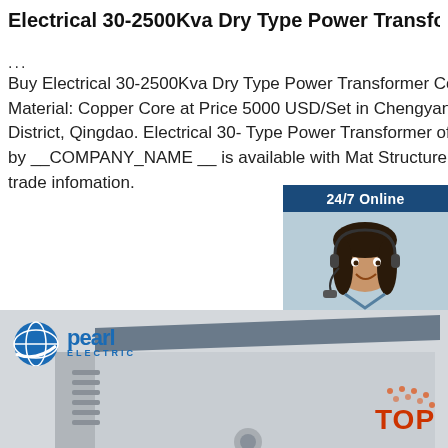Electrical 30-2500Kva Dry Type Power Transformer Coil ...
Buy Electrical 30-2500Kva Dry Type Power Transformer Coil Material: Copper Core at Price 5000 USD/Set in Chengyang District, Qingdao. Electrical 30- Type Power Transformer offered by __COMPANY_NAME __ is available with Mat Structure and trade infomation.
[Figure (photo): Customer service representative with headset, 24/7 Online chat widget with QUOTATION button]
[Figure (logo): Pearl Electric logo - blue globe with swoosh and 'pearl ELECTRIC' text]
[Figure (photo): Large grey electrical dry type power transformer unit]
[Figure (other): TOP badge in red/orange with dots]